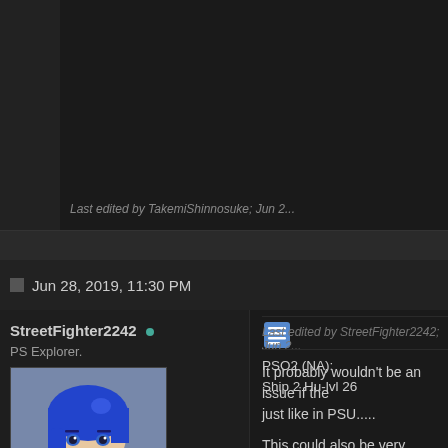Last edited by TakemiShinnosuke; Jun 2...
Jun 28, 2019, 11:30 PM
StreetFighter2242 •
PS Explorer.
[Figure (illustration): Pixel art avatar of anime character with blue hair wearing blue outfit]
| Join Date: | Jan 2018 |
| Location: | Detroit, Mi, NA. |
| Posts: | 220 |
It probably wouldn't be an issue if the... just like in PSU.....
This could also be very likely due to t...
Last edited by StreetFighter2242; Jun 2...
PSO2 (NA):
Ship 2 Hu-lvl 26